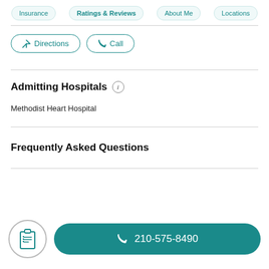Insurance | Ratings & Reviews | About Me | Locations
Directions | Call
Admitting Hospitals
Methodist Heart Hospital
Frequently Asked Questions
210-575-8490